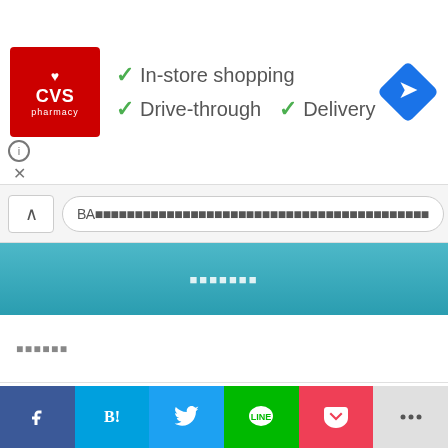[Figure (screenshot): CVS Pharmacy advertisement banner showing logo and service options: In-store shopping, Drive-through, Delivery with green checkmarks, and a blue navigation/directions icon]
[Figure (screenshot): Google Maps style search bar with collapse button and search input field containing Japanese text]
[Figure (screenshot): List/table section with teal header containing Japanese text, followed by rows with Japanese text labels, one row has a gray box with up arrow. Bottom row shows 'Excel' with Japanese characters.]
[Figure (screenshot): Bottom social sharing bar with Facebook (f), Hatena (B!), Twitter bird, LINE, Pocket, and more share options]